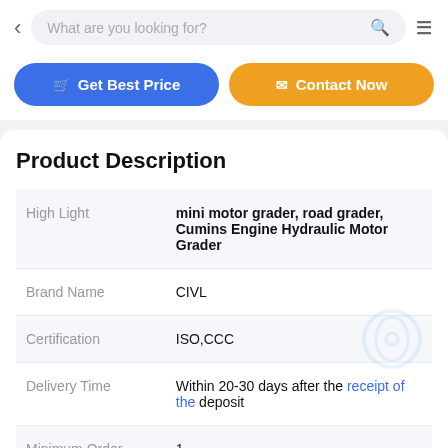What are you looking for?
Get Best Price | Contact Now
Product Description
| Field | Value |
| --- | --- |
| High Light | mini motor grader, road grader, Cumins Engine Hydraulic Motor Grader |
| Brand Name | CIVL |
| Certification | ISO,CCC |
| Delivery Time | Within 20-30 days after the receipt of the deposit |
| Minimum Order Quantity | 1 |